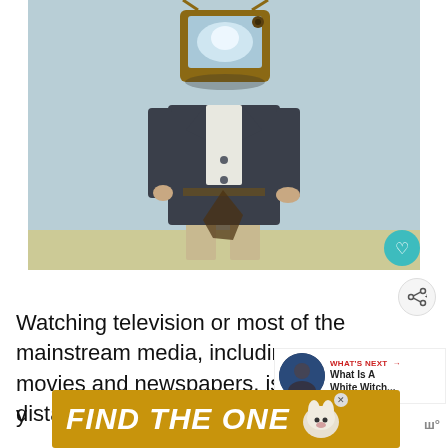[Figure (photo): Person wearing a vintage television set as a head, dressed in a dark blazer and khaki pants, standing against a light blue-grey wall.]
Watching television or most of the mainstream media, including many movies and newspapers, is very distasteful to y[ou]
[Figure (infographic): WHAT'S NEXT → What Is A White Witch... thumbnail card with dark circular image]
[Figure (infographic): Advertisement banner: FIND THE ONE with a dog image and close button]